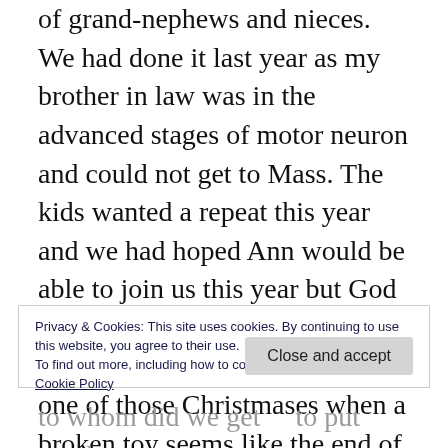of grand-nephews and nieces. We had done it last year as my brother in law was in the advanced stages of motor neuron and could not get to Mass. The kids wanted a repeat this year and we had hoped Ann would be able to join us this year but God had other plans. Tough Christmas for all of us really – one of those Christmases when a broken toy seems like the end of the world. I have Brendan's first annivesary and Ann's month's mind over the next couple of weeks.
Privacy & Cookies: This site uses cookies. By continuing to use this website, you agree to their use.
To find out more, including how to control cookies, see here:
Cookie Policy
Close and accept
to whom did we get to put another way,